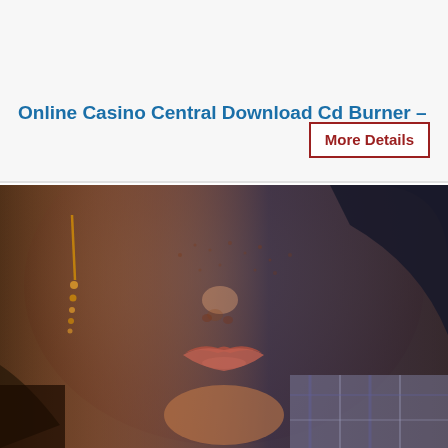Online Casino Central Download Cd Burner –
More Details
[Figure (photo): Close-up photo of a woman's face (lower half), showing freckled skin, nose, lips, and a dangling earring on the left side. She appears to be wearing a plaid shirt. Dark hair visible on the right side.]